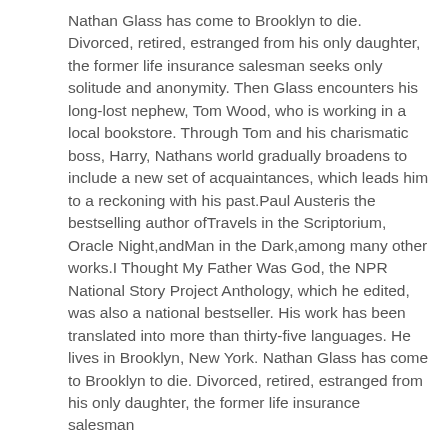Nathan Glass has come to Brooklyn to die. Divorced, retired, estranged from his only daughter, the former life insurance salesman seeks only solitude and anonymity. Then Glass encounters his long-lost nephew, Tom Wood, who is working in a local bookstore. Through Tom and his charismatic boss, Harry, Nathans world gradually broadens to include a new set of acquaintances, which leads him to a reckoning with his past.Paul Austeris the bestselling author ofTravels in the Scriptorium, Oracle Night,andMan in the Dark,among many other works.I Thought My Father Was God, the NPR National Story Project Anthology, which he edited, was also a national bestseller. His work has been translated into more than thirty-five languages. He lives in Brooklyn, New York. Nathan Glass has come to Brooklyn to die. Divorced, retired, estranged from his only daughter, the former life insurance salesman